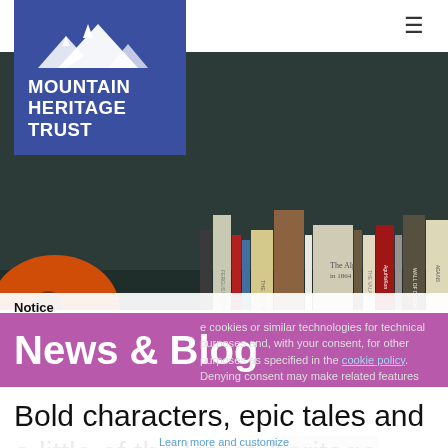[Figure (screenshot): Mountain Heritage Trust website screenshot showing logo, bookshelf hero image, cookie notice, News & Blog banner, and intro text]
Mountain Heritage Trust — hamburger menu icon
News & Blog
Notice We use cookies or similar technologies for technical purposes and, with your consent, for other purposes as specified in the cookie policy. Denying consent may make related features unavailable.
Bold characters, epic tales and a little of the latest heritage news. Take a look at what we've been
Learn more and customize